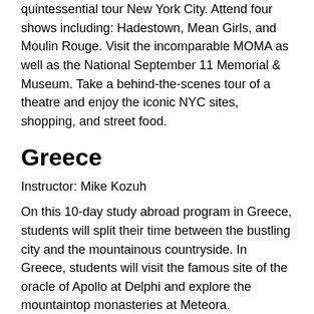quintessential tour New York City. Attend four shows including: Hadestown, Mean Girls, and Moulin Rouge. Visit the incomparable MOMA as well as the National September 11 Memorial & Museum. Take a behind-the-scenes tour of a theatre and enjoy the iconic NYC sites, shopping, and street food.
Greece
Instructor: Mike Kozuh
On this 10-day study abroad program in Greece, students will split their time between the bustling city and the mountainous countryside. In Greece, students will visit the famous site of the oracle of Apollo at Delphi and explore the mountaintop monasteries at Meteora. Participants will also enjoy the spectacular geography, taste local cuisine, and visit artisans among many other trip attractions in this ancient land.
Panama
Instructor: Chandana Mitra